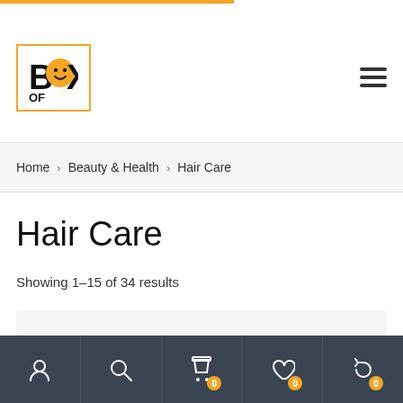[Figure (logo): Box of Happiness logo — yellow smiley face replacing the O in BOX, inside a yellow-bordered rectangle. Text reads BOX OF HAPPINESS.]
Home › Beauty & Health › Hair Care
Hair Care
Showing 1–15 of 34 results
[Figure (screenshot): Bottom navigation bar with icons: user, search, cart (0), wishlist (0), history (0)]